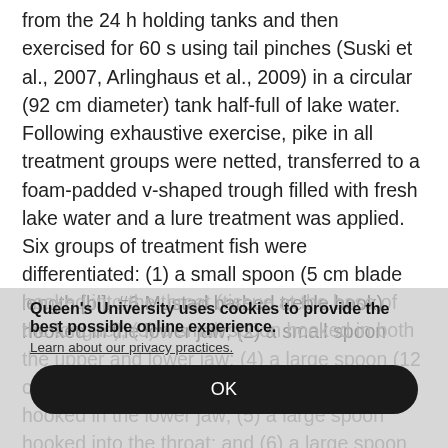from the 24 h holding tanks and then exercised for 60 s using tail pinches (Suski et al., 2007, Arlinghaus et al., 2009) in a circular (92 cm diameter) tank half-full of lake water. Following exhaustive exercise, pike in all treatment groups were netted, transferred to a foam-padded v-shaped trough filled with fresh lake water and a lure treatment was applied. Six groups of treatment fish were differentiated: (1) a small spoon (5 cm blade length [bl], #6 Mustad barbed treble hook) hooked in the lower jaw; (2) a small spoon
hooked into the throat (tissue at the base of the tongue); (3) a small spoon hooked in both the upper and lower jaw; (4) a large spoon (12 cm bl, #3/0 Mustad barbed treble hook) hooked in the lower jaw; (5) a large spoon hooked into the throat; and (6) a large spoon hooked in both the upper and lower jaw
Queen's University uses cookies to provide the best possible online experience.
Learn about our privacy practices.
OK